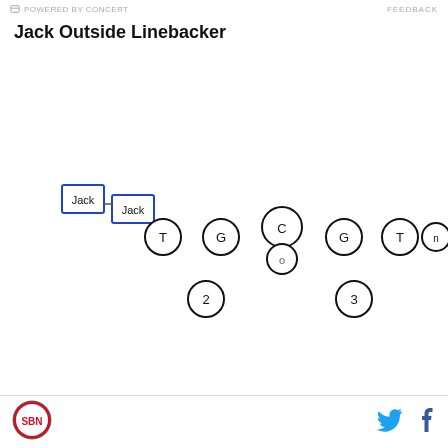POWERED BY CONCERT   FEEDBACK
Jack Outside Linebacker
[Figure (schematic): Football formation diagram showing Jack Outside Linebacker position. Two blue-bordered squares labeled 'Jack' are positioned at the left side (one further left, one slightly right and overlapping). A row of circles labeled T, G, C, G, T, n represents the offensive line. Below C is a smaller circle labeled 'o'. Two circles labeled '2' and '3' are positioned below and to the sides.]
SB Nation logo | Twitter icon | Facebook icon